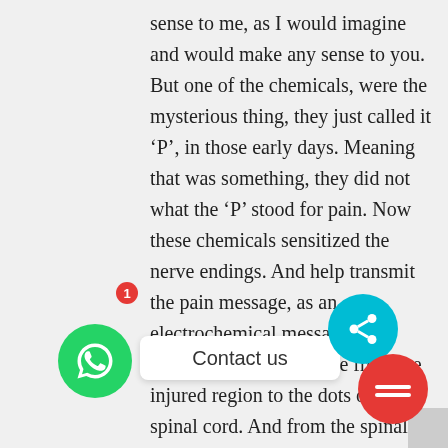sense to me, as I would imagine and would make any sense to you. But one of the chemicals, were the mysterious thing, they just called it 'P', in those early days. Meaning that was something, they did not what the 'P' stood for pain. Now these chemicals sensitized the nerve endings. And help transmit the pain message, as an electrochemical message. Electrochemical impulse from the injured region to the dots of the spinal cord. And from the spinal cord then it is relayed as a chemical message to the brain with a sensation first becomes conscious. So, only then we really become aware of the pain. So before that this is the way the pain message gets conveyed. And its the intensity and the location of the pain becomes known. Now it was also
[Figure (other): WhatsApp contact button (green circle with phone icon) with red notification badge showing '1', a 'Contact us' pill button in white, a teal share button, and a red minus/block button in the bottom-right area of the page.]